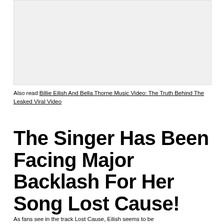[Figure (photo): Placeholder image box at top of article]
Also read Billie Eilish And Bella Thorne Music Video: The Truth Behind The Leaked Viral Video
The Singer Has Been Facing Major Backlash For Her Song Lost Cause!
As fans see in the track Lost Cause, Eilish seems to be